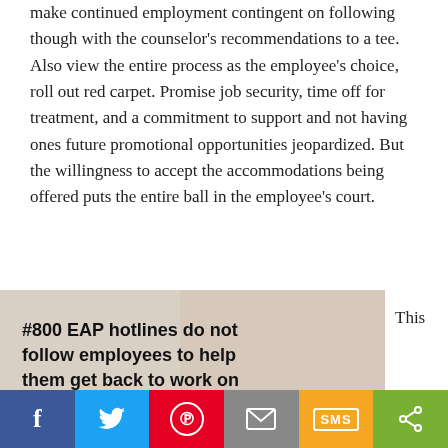make continued employment contingent on following though with the counselor's recommendations to a tee. Also view the entire process as the employee's choice, roll out red carpet. Promise job security, time off for treatment, and a commitment to support and not having ones future promotional opportunities jeopardized. But the willingness to accept the accommodations being offered puts the entire ball in the employee's court.
[Figure (photo): Photo of a man with text overlay: '#800 EAP hotlines do not follow employees to help them get back to work on time.' Alongside partial text 'This']
Facebook | Twitter | Pinterest | Email | SMS | Share